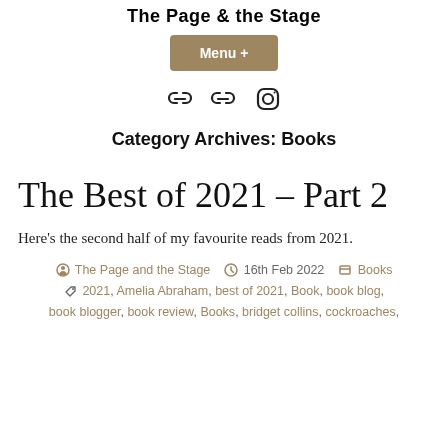The Page & the Stage
Menu +
[Figure (other): Three icons: two chain/link icons and one Instagram icon]
Category Archives: Books
The Best of 2021 – Part 2
Here's the second half of my favourite reads from 2021.
The Page and the Stage  16th Feb 2022  Books
2021, Amelia Abraham, best of 2021, Book, book blog, book blogger, book review, Books, bridget collins, cockroaches,